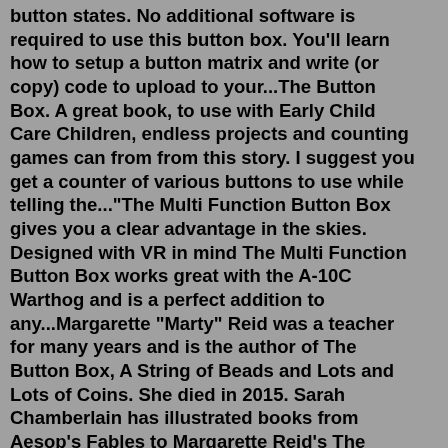button states. No additional software is required to use this button box. You'll learn how to setup a button matrix and write (or copy) code to upload to your...The Button Box. A great book, to use with Early Child Care Children, endless projects and counting games can from from this story. I suggest you get a counter of various buttons to use while telling the..."The Multi Function Button Box gives you a clear advantage in the skies. Designed with VR in mind The Multi Function Button Box works great with the A-10C Warthog and is a perfect addition to any...Margarette "Marty" Reid was a teacher for many years and is the author of The Button Box, A String of Beads and Lots and Lots of Coins. She died in 2015. Sarah Chamberlain has illustrated books from Aesop's Fables to Margarette Reid's The Button Box. She studied under renowned printmakers and illustrators Barry Moser and Leonard Baskin, and ... About Press Copyright Contact us Creators Advertise Developers Terms Privacy Policy & Safety How YouTube works Test new features Press Copyright...